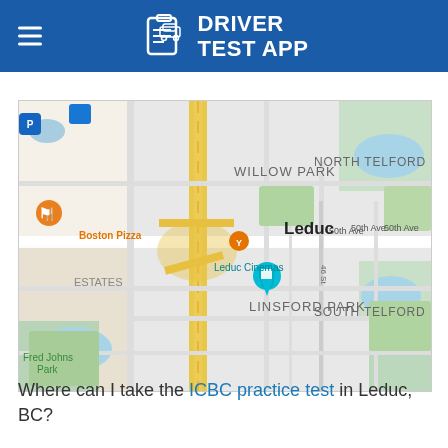DRIVER TEST APP
[Figure (map): Google Maps screenshot showing Leduc, Alberta area with neighborhoods: Willow Park, North Telford, Linsford Park, South Telford, Estates, Fred Johns Park. Shows 50th Ave, 46 St, Boston Pizza, Leduc Cinemas markers, and a teal location pin.]
Where can I take the ICBC practice test in Leduc, BC?